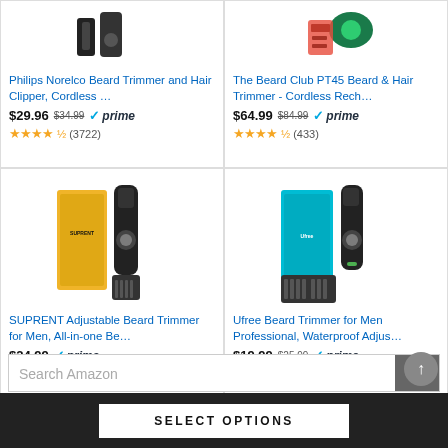[Figure (photo): Philips Norelco Beard Trimmer and Hair Clipper product photo (partial, top)]
Philips Norelco Beard Trimmer and Hair Clipper, Cordless …
$29.96  $34.99  ✓prime
★★★★½ (3722)
[Figure (photo): The Beard Club PT45 Beard & Hair Trimmer product photo (partial, top)]
The Beard Club PT45 Beard & Hair Trimmer - Cordless Rech…
$64.99  $84.99  ✓prime
★★★★½ (433)
[Figure (photo): SUPRENT Adjustable Beard Trimmer for Men product photo with yellow box packaging]
SUPRENT Adjustable Beard Trimmer for Men, All-in-one Be…
$24.99  ✓prime
★★★★½ (8875)
[Figure (photo): Ufree Beard Trimmer for Men Professional Waterproof product photo with teal box]
Ufree Beard Trimmer for Men Professional, Waterproof Adjus…
$19.99  $25.99  ✓prime
★★★★½ (27)
Search Amazon
Go
SELECT OPTIONS